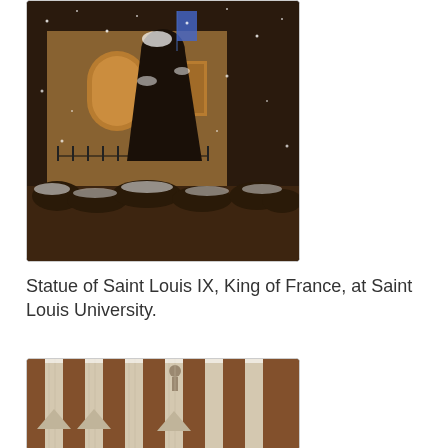[Figure (photo): A bronze statue of Saint Louis IX, King of France, covered in snow at night, with a building in the background. The statue shows a robed figure, and snow-covered bushes are visible at the base.]
Statue of Saint Louis IX, King of France, at Saint Louis University.
[Figure (photo): A close-up photograph of architectural or decorative spires/pinnacles of a building, likely a church or university building, showing ornate stone or metal details with snow visible.]